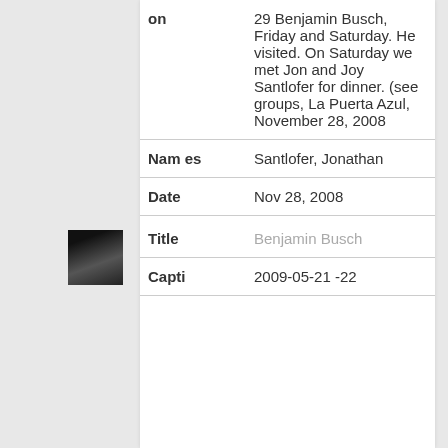| Field | Value |
| --- | --- |
| on | 29 Benjamin Busch, Friday and Saturday. He visited. On Saturday we met Jon and Joy Santlofer for dinner. (see groups, La Puerta Azul, November 28, 2008 |
| Names | Santlofer, Jonathan |
| Date | Nov 28, 2008 |
| Title | Benjamin Busch |
| Capti | 2009-05-21 -22 |